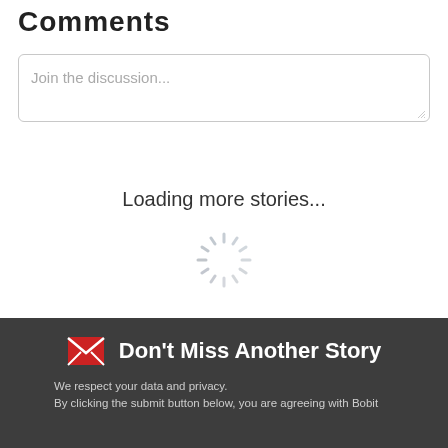Comments
Join the discussion...
Loading more stories...
[Figure (other): Circular loading spinner animation graphic]
Don't Miss Another Story
We respect your data and privacy. By clicking the submit button below, you are agreeing with Bobit